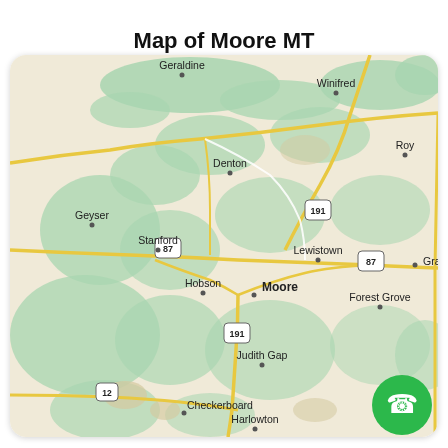Map of Moore MT
[Figure (map): Map of Moore, MT showing surrounding towns including Geraldine, Winifred, Roy, Denton, Geyser, Stanford, Lewistown, Grass Range, Hobson, Moore, Forest Grove, Judith Gap, Checkerboard, Harlowton. Roads 191, 87, and 12 are visible. Green terrain areas shown on beige/tan background.]